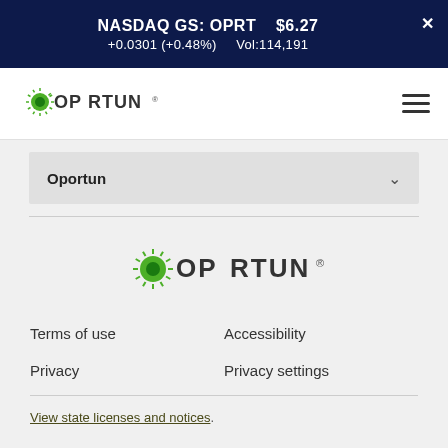NASDAQ GS: OPRT  $6.27  +0.0301 (+0.48%)  Vol:114,191
[Figure (logo): Oportun logo in navigation bar]
Oportun
[Figure (logo): Oportun logo large in footer area]
Terms of use
Accessibility
Privacy
Privacy settings
View state licenses and notices.